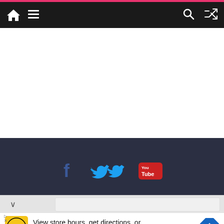Navigation bar with home icon, menu icon, search icon, shuffle icon
[Figure (screenshot): White content area (blank advertisement space)]
Copyright © 2022 Finger Guns. All rights reserved. Theme: ColorMag by ThemeGrill. Powered by WordPress.
[Figure (screenshot): Advertisement: HC logo, View store hours, get directions, or call your salon!]